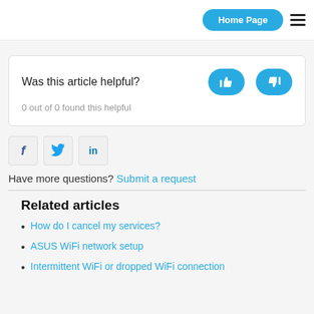Home Page
Was this article helpful?
0 out of 0 found this helpful
[Figure (other): Social share icons: Facebook (f), Twitter (bird), LinkedIn (in)]
Have more questions? Submit a request
Related articles
How do I cancel my services?
ASUS WiFi network setup
Intermittent WiFi or dropped WiFi connection